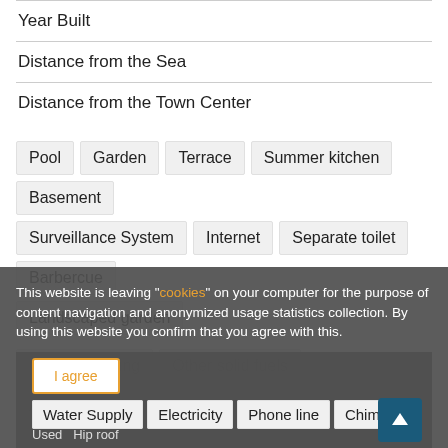Year Built
Distance from the Sea
Distance from the Town Center
Pool  Garden  Terrace  Summer kitchen  Basement  Surveillance System  Internet  Separate toilet  Barbercue  Landscaped garden
Central Heating  Other solid fuels  Air Conditioning
This website is leaving "cookies" on your computer for the purpose of content navigation and anonymized usage statistics collection. By using this website you confirm that you agree with this.
Water Supply  Electricity  Phone line  Chimney
Used  Hip roof